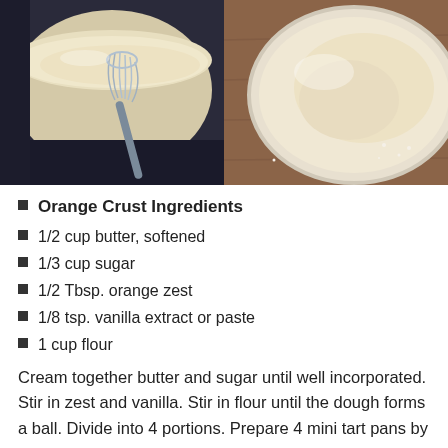[Figure (photo): Left photo: a whisk in a bowl of creamy white batter/filling on a stovetop]
[Figure (photo): Right photo: a bowl of creamy white dough or batter, viewed from above, on a wooden surface]
Orange Crust Ingredients
1/2 cup butter, softened
1/3 cup sugar
1/2 Tbsp. orange zest
1/8 tsp. vanilla extract or paste
1 cup flour
Cream together butter and sugar until well incorporated. Stir in zest and vanilla. Stir in flour until the dough forms a ball. Divide into 4 portions. Prepare 4 mini tart pans by